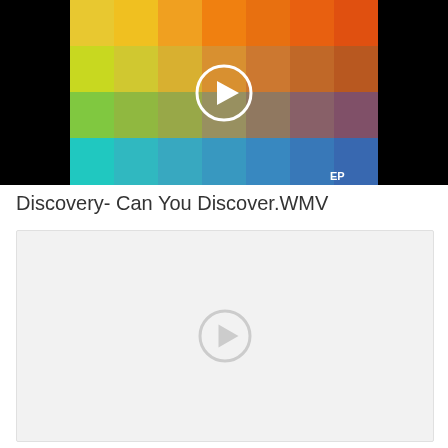[Figure (screenshot): Video thumbnail showing a colorful album art with gradient color squares arranged in a grid pattern (yellow, orange, green, teal, blue, red, brown tones) with a white circular play button overlaid in the center. Black bars on left and right sides.]
Discovery- Can You Discover.WMV
[Figure (screenshot): A light gray video player placeholder with a faint white circular play button in the center, representing an unloaded or blank video thumbnail.]